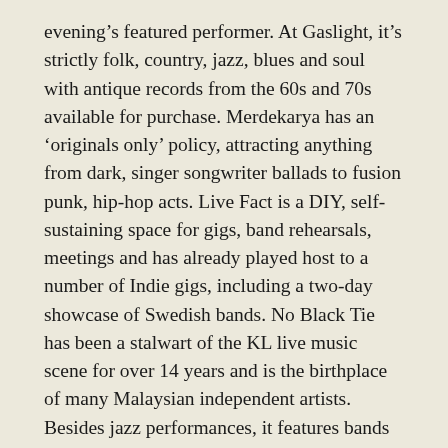evening's featured performer. At Gaslight, it's strictly folk, country, jazz, blues and soul with antique records from the 60s and 70s available for purchase. Merdekarya has an 'originals only' policy, attracting anything from dark, singer songwriter ballads to fusion punk, hip-hop acts. Live Fact is a DIY, self-sustaining space for gigs, band rehearsals, meetings and has already played host to a number of Indie gigs, including a two-day showcase of Swedish bands. No Black Tie has been a stalwart of the KL live music scene for over 14 years and is the birthplace of many Malaysian independent artists. Besides jazz performances, it features bands that play lively Brazilian beats as well as blues and roots.
[Figure (other): Broken image placeholder labeled 'blog 16.06 pic 1']